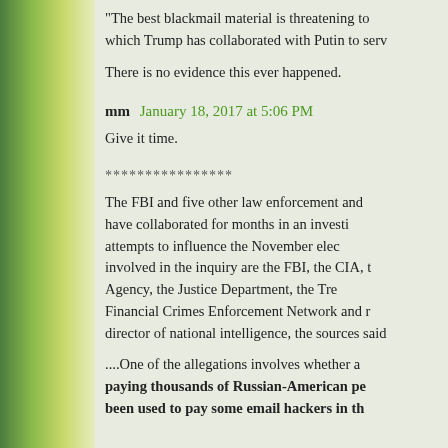"The best blackmail material is threatening to which Trump has collaborated with Putin to serv
There is no evidence this ever happened.
mm  January 18, 2017 at 5:06 PM
Give it time.
****************
The FBI and five other law enforcement and have collaborated for months in an investi attempts to influence the November elec involved in the inquiry are the FBI, the CIA, t Agency, the Justice Department, the Tre Financial Crimes Enforcement Network and r director of national intelligence, the sources said
....One of the allegations involves whether a paying thousands of Russian-American pe been used to pay some email hackers in th